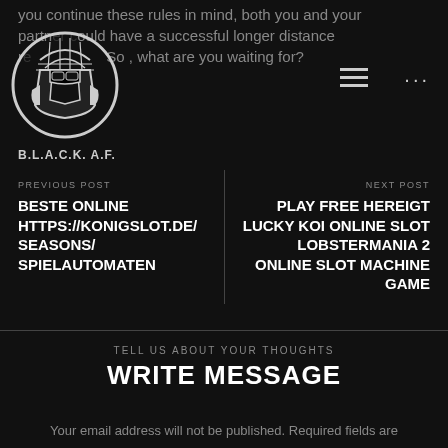you continue these rules in mind, both you and your partner could have a successful longer distance r... So , what are you waiting for?
[Figure (logo): Black and white circular logo with a stylized armored figure (B.L.A.C.K. A.F. brand) on dark background]
B.L.A.C.K. A.F.
PREVIOUS POST
BESTE ONLINE HTTPS://KONIGSLOT.DE/SEASONS/SPIELAUTOMATEN
NEXT POST
PLAY FREE HEREIGT LUCKY KOI ONLINE SLOT LOBSTERMANIA 2 ONLINE SLOT MACHINE GAME
TELL US ABOUT YOUR THOUGHTS
WRITE MESSAGE
Your email address will not be published. Required fields are